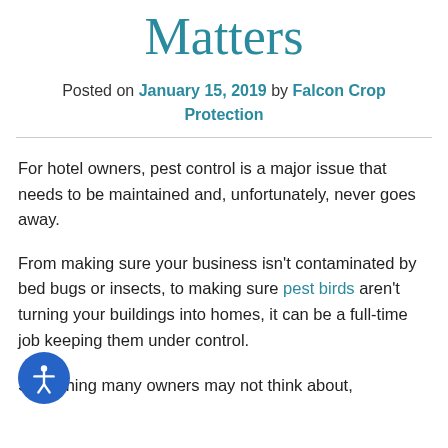Matters
Posted on January 15, 2019 by Falcon Crop Protection
For hotel owners, pest control is a major issue that needs to be maintained and, unfortunately, never goes away.
From making sure your business isn’t contaminated by bed bugs or insects, to making sure pest birds aren’t turning your buildings into homes, it can be a full-time job keeping them under control.
Something many owners may not think about,